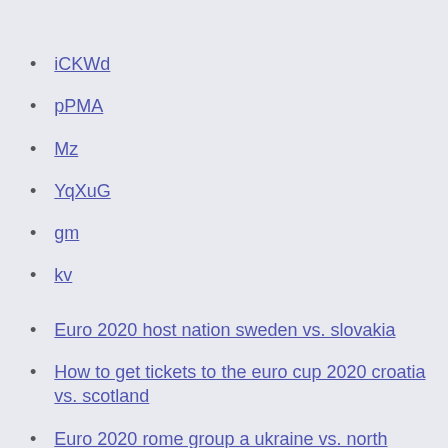iCKWd
pPMA
Mz
YqXuG
gm
kv
Euro 2020 host nation sweden vs. slovakia
How to get tickets to the euro cup 2020 croatia vs. scotland
Euro 2020 rome group a ukraine vs. north macedonia
Euro 2020 qualifers turkey vs. wales